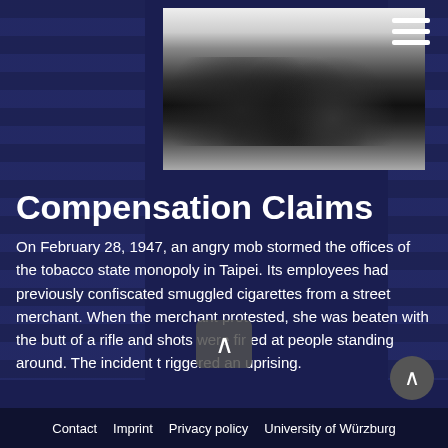[Figure (photo): Black and white historical photograph showing a large crowd of people gathered in the street, apparently during a protest or uprising in Taipei, 1947.]
Compensation Claims
On February 28, 1947, an angry mob stormed the offices of the tobacco state monopoly in Taipei. Its employees had previously confiscated smuggled cigarettes from a street merchant. When the merchant protested, she was beaten with the butt of a rifle and shots were fired at people standing around. The incident triggered an uprising.
Contact  Imprint  Privacy policy  University of Würzburg